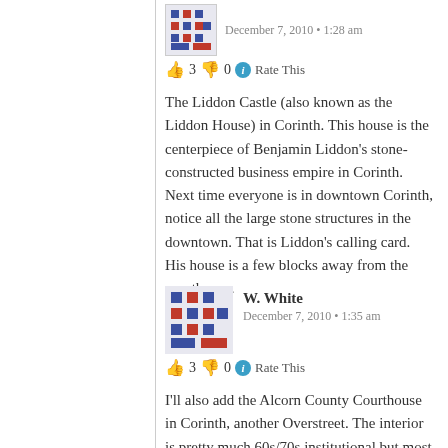December 7, 2010 • 1:28 am
👍 3  👎 0  ℹ Rate This
The Liddon Castle (also known as the Liddon House) in Corinth. This house is the centerpiece of Benjamin Liddon's stone-constructed business empire in Corinth. Next time everyone is in downtown Corinth, notice all the large stone structures in the downtown. That is Liddon's calling card. His house is a few blocks away from the courthouse.
Like
W. White
December 7, 2010 • 1:35 am
👍 3  👎 0  ℹ Rate This
I'll also add the Alcorn County Courthouse in Corinth, another Overstreet. The interior is pretty much 60s/70s institutional but most of it is offices that the public can't enjoy anyway.